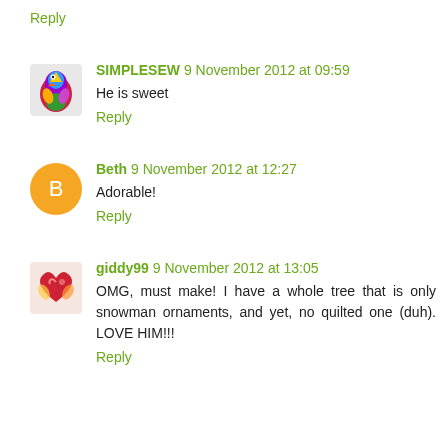Reply
SIMPLESEW 9 November 2012 at 09:59
He is sweet
Reply
Beth 9 November 2012 at 12:27
Adorable!
Reply
giddy99 9 November 2012 at 13:05
OMG, must make! I have a whole tree that is only snowman ornaments, and yet, no quilted one (duh). LOVE HIM!!!
Reply